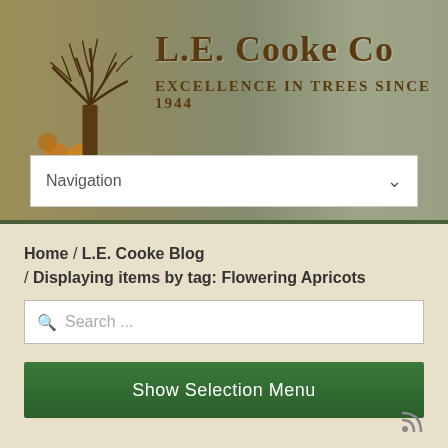[Figure (screenshot): L.E. Cooke Co website header with tree logo and nature background]
L.E. Cooke Co
Excellence In Trees Since 1944
Navigation
Home / L.E. Cooke Blog / Displaying items by tag: Flowering Apricots
Search ...
Show Selection Menu